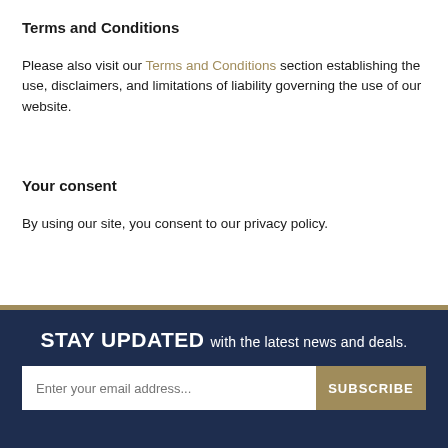Terms and Conditions
Please also visit our Terms and Conditions section establishing the use, disclaimers, and limitations of liability governing the use of our website.
Your consent
By using our site, you consent to our privacy policy.
STAY UPDATED with the latest news and deals.
Enter your email address... SUBSCRIBE